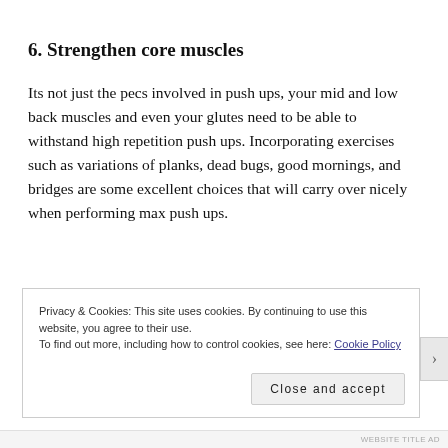6. Strengthen core muscles
Its not just the pecs involved in push ups, your mid and low back muscles and even your glutes need to be able to withstand high repetition push ups. Incorporating exercises such as variations of planks, dead bugs, good mornings, and bridges are some excellent choices that will carry over nicely when performing max push ups.
Privacy & Cookies: This site uses cookies. By continuing to use this website, you agree to their use.
To find out more, including how to control cookies, see here: Cookie Policy
Close and accept